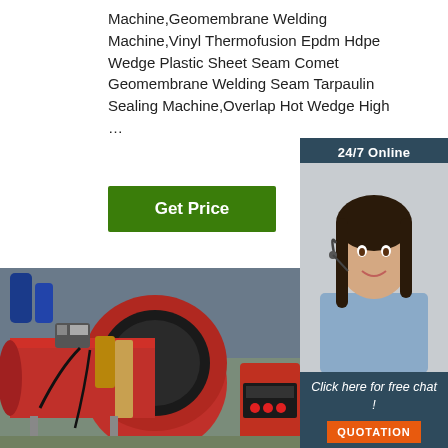Machine,Geomembrane Welding Machine,Vinyl Thermofusion Epdm Hdpe Wedge Plastic Sheet Seam Comet Geomembrane Welding Seam Tarpaulin Sealing Machine,Overlap Hot Wedge High …
Get Price
24/7 Online
[Figure (photo): Customer service agent with headset, smiling]
Click here for free chat !
QUOTATION
[Figure (photo): Industrial welding machine — large red cylindrical pipe welding equipment in a workshop]